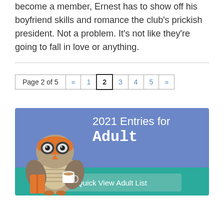become a member, Ernest has to show off his boyfriend skills and romance the club's prickish president. Not a problem. It's not like they're going to fall in love or anything.
Page 2 of 5  «  1  2  3  4  5  »
[Figure (infographic): 2021 Entries for Adult banner with owl mascot wearing goggles and holding a coffee cup, blue-purple background, teal bottom section with Quick View Adult List button]